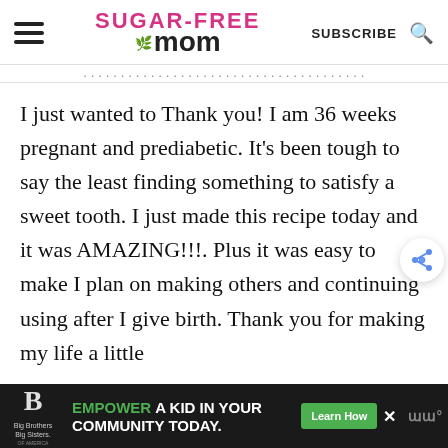Sugar-Free Mom — SUBSCRIBE
I just wanted to Thank you! I am 36 weeks pregnant and prediabetic. It's been tough to say the least finding something to satisfy a sweet tooth. I just made this recipe today and it was AMAZING!!!. Plus it was easy to make I plan on making others and continuing using after I give birth. Thank you for making my life a little
[Figure (screenshot): Ad banner for Big Brothers Big Sisters: 'EMPOWER A KID IN YOUR COMMUNITY TODAY.' with Learn How button]